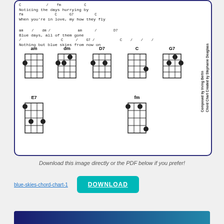[Figure (other): Ukulele chord chart for 'Blue Skies' showing chord diagrams for am, dm, D7, C, G7, E7, fm with lyrics and chord names above. Rotated sidebar text reads 'Composed by Irving Berlin / Chord Chart Created by Stephanie Douglass']
Download this image directly or the PDF below if you prefer!
blue-skies-chord-chart-1
DOWNLOAD